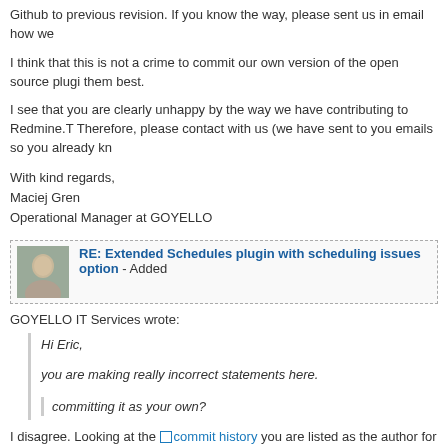Github to previous revision. If you know the way, please sent us in email how we
I think that this is not a crime to commit our own version of the open source plugin them best.
I see that you are clearly unhappy by the way we have contributing to Redmine.T Therefore, please contact with us (we have sent to you emails so you already kn
With kind regards,
Maciej Gren
Operational Manager at GOYELLO
RE: Extended Extended Schedules plugin with scheduling issues option - Added
GOYELLO IT Services wrote:
Hi Eric,

you are making really incorrect statements here.

committing it as your own?
I disagree. Looking at the commit history you are listed as the author for all of t history of my budget plugin, where the code's author is acknowledged with their c http://github.com/edavis10/redmine-budget-plugin/commits/master
We didn't want to override all files but it was needed because in our plugin holidays gem and estimator features that were committed to the master b not possibility to make commit on Github to previous revision. If you know how we can achieve that goal.
It is possible, you just need to checkout the older version and branch from there. history prior to your changes (e.g. before the holidays).